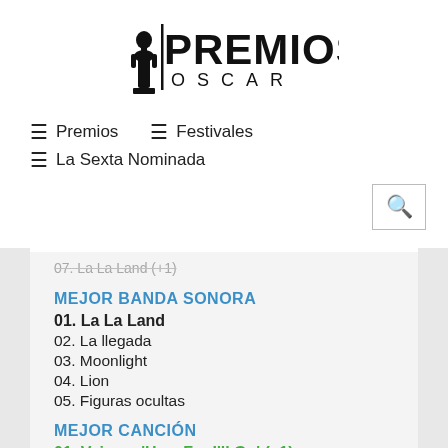[Figure (logo): Premios Oscar logo with Oscar statuette and bold text PREMIOS OSCAR]
≡ Premios   ≡ Festivales
≡ La Sexta Nominada
[Figure (other): Search button with magnifying glass icon]
07. La La Land (+1)
MEJOR BANDA SONORA
01. La La Land
02. La llegada
03. Moonlight
04. Lion
05. Figuras ocultas
MEJOR CANCIÓN
01. Vaiana: 'How Far I'll Go' (+1)
02. La La Land: 'City of Stars' (-1)